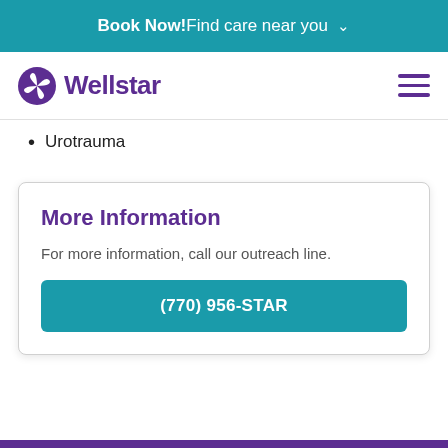Book Now! Find care near you
[Figure (logo): Wellstar logo with purple icon and wordmark]
Urotrauma
More Information
For more information, call our outreach line.
(770) 956-STAR